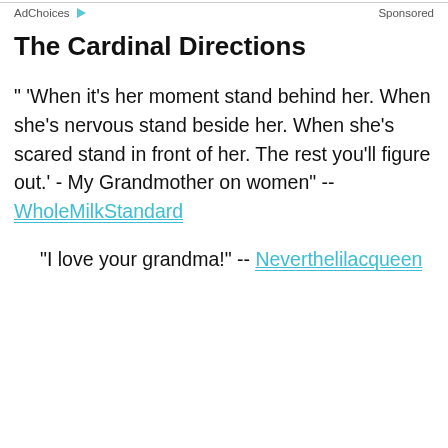AdChoices  Sponsored
The Cardinal Directions
" 'When it's her moment stand behind her. When she's nervous stand beside her. When she's scared stand in front of her. The rest you'll figure out.' - My Grandmother on women" -- WholeMilkStandard
"I love your grandma!" -- Neverthelilacqueen